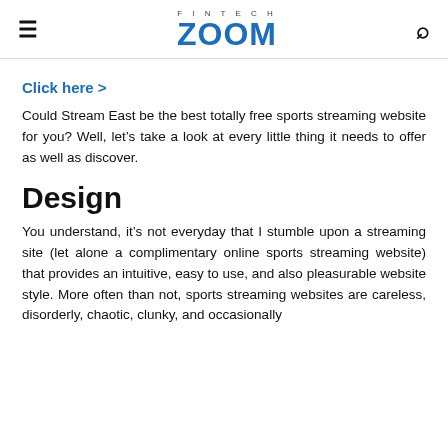FINTECH ZOOM
Click here >
Could Stream East be the best totally free sports streaming website for you? Well, let’s take a look at every little thing it needs to offer as well as discover.
Design
You understand, it’s not everyday that I stumble upon a streaming site (let alone a complimentary online sports streaming website) that provides an intuitive, easy to use, and also pleasurable website style. More often than not, sports streaming websites are careless, disorderly, chaotic, clunky, and occasionally